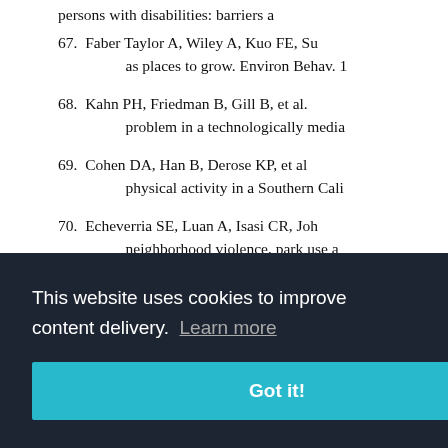persons with disabilities: barriers a
67. Faber Taylor A, Wiley A, Kuo FE, Su as places to grow. Environ Behav. 1
68. Kahn PH, Friedman B, Gill B, et al. problem in a technologically media
69. Cohen DA, Han B, Derose KP, et al physical activity in a Southern Cali
70. Echeverria SE, Luan A, Isasi CR, Joh neighborhood violence, park use a Activity Health. 2013 [Epub ahead
ng healthy ns. Int J En
[Figure (screenshot): Cookie consent banner with dark background reading 'This website uses cookies to improve content delivery. Learn more' and a teal 'Got it!' button]